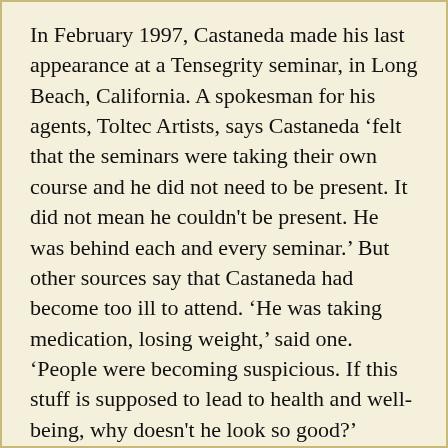In February 1997, Castaneda made his last appearance at a Tensegrity seminar, in Long Beach, California. A spokesman for his agents, Toltec Artists, says Castaneda ‘felt that the seminars were taking their own course and he did not need to be present. It did not mean he couldn't be present. He was behind each and every seminar.’ But other sources say that Castaneda had become too ill to attend. ‘He was taking medication, losing weight,’ said one. ‘People were becoming suspicious. If this stuff is supposed to lead to health and well-being, why doesn't he look so good?’
Sometimes Castaneda would be seen at his favourite restaurant near his home. But his direct communication with anyone outside his immediate circle began to dry up. ‘For the last 18 months he was all but